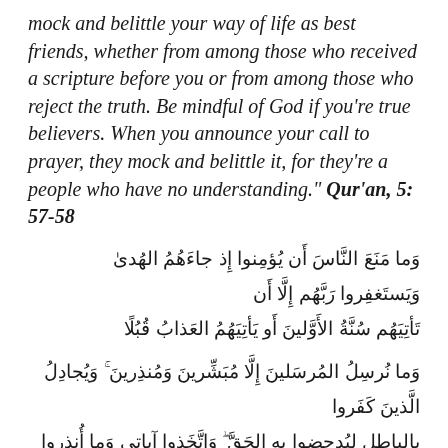"All you who believe! Don't take those who mock and belittle your way of life as best friends, whether from among those who received a scripture before you or from among those who reject the truth. Be mindful of God if you're true believers. When you announce your call to prayer, they mock and belittle it, for they're a people who have no understanding." Qur'an, 5: 57-58
وَما مَنَعَ النَّاسَ أَن يُؤمِنوا إِذ جاءَهُمُ الهُدىٰ وَيَستَغفِروا رَبَّهُم إِلَّا أَن تَأتِيَهُم سُنَّةُ الأَوَّلينَ أَو يَأتِيَهُمُ العَذابُ قُبُلًا
وَما نُرسِلُ المُرسَلينَ إِلَّا مُبَشِّرينَ وَمُنذِرينَ ۚ وَيُجادِلُ الَّذينَ كَفَروا بِالباطِلِ لِيُدحِضوا بِهِ الحَقَّ ۖ وَاتَّخَذوا آياتي وَما أُنذِروا هُزُوًا
"There's nothing to prevent people from